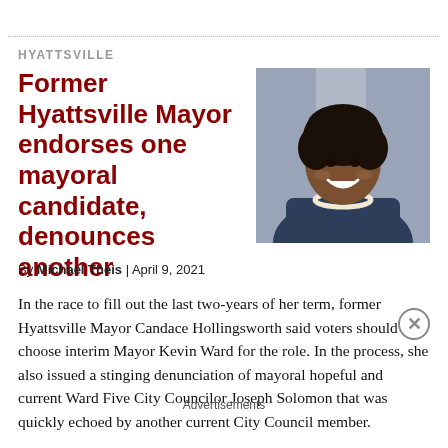HYATTSVILLE
Former Hyattsville Mayor endorses one mayoral candidate, denounces another
[Figure (photo): Photo of Candace Hollingsworth smiling, wearing a dark blue top and pearl necklace]
By Michael Theis | April 9, 2021
In the race to fill out the last two-years of her term, former Hyattsville Mayor Candace Hollingsworth said voters should choose interim Mayor Kevin Ward for the role. In the process, she also issued a stinging denunciation of mayoral hopeful and current Ward Five City Councilor Joseph Solomon that was quickly echoed by another current City Council member.
Advertisements